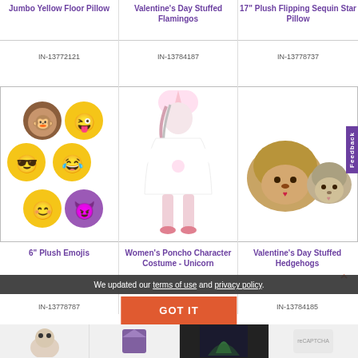Jumbo Yellow Floor Pillow
Valentine's Day Stuffed Flamingos
17" Plush Flipping Sequin Star Pillow
IN-13772121
IN-13784187
IN-13778737
[Figure (photo): 6 emoji plush pillows: monkey, winking face, sunglasses, laughing crying, smiling, devil]
[Figure (photo): Women's unicorn poncho costume - white with pink accents, hood with unicorn horn]
[Figure (photo): Valentine's Day stuffed hedgehogs - two fluffy hedgehog plush toys]
6" Plush Emojis
Women's Poncho Character Costume - Unicorn
Valentine's Day Stuffed Hedgehogs
IN-13778787
IN-13824949
IN-13784185
We updated our terms of use and privacy policy.
GOT IT